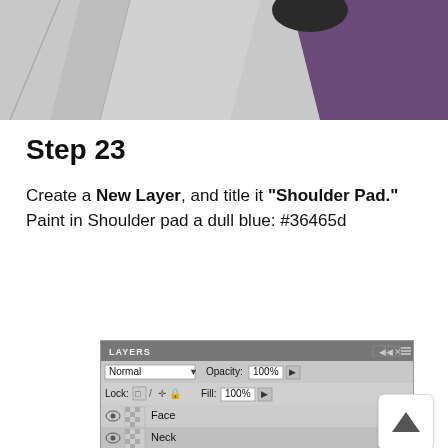[Figure (illustration): Partial view of an illustrated character showing a shoulder/arm area with purple fabric and grey armor elements]
Step 23
Create a New Layer, and title it "Shoulder Pad." Paint in Shoulder pad a dull blue: #36465d
[Figure (screenshot): Photoshop Layers panel showing Normal blend mode, 100% Opacity, 100% Fill, with Face and Neck layers visible]